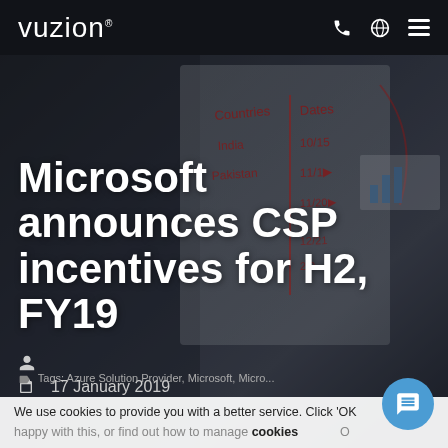vuzion
[Figure (photo): Background photo of a woman presenting at a whiteboard with handwritten notes showing Countries and Dates columns (India 10/15, Pakistan 11/1, 12/21, 2/9), with a monitor visible on the right side]
Microsoft announces CSP incentives for H2, FY19
17 January 2019
We use cookies to provide you with a better service. Click 'OK' if you're happy with this, or find out how to manage cookies